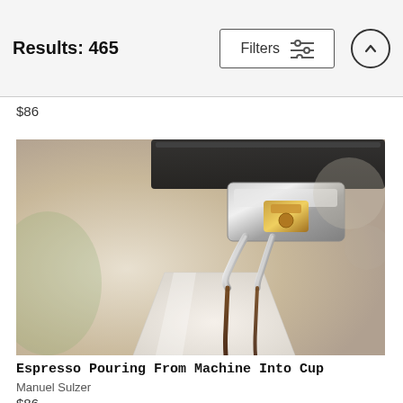Results: 465
Filters
$86
[Figure (photo): Close-up photo of espresso pouring from a chrome espresso machine portafilter into a white ceramic cup]
Espresso Pouring From Machine Into Cup
Manuel Sulzer
$86